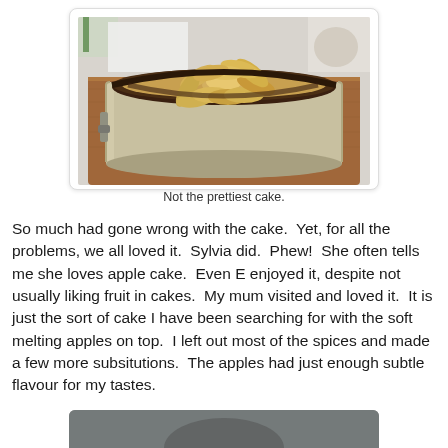[Figure (photo): A round apple cake in a metal springform pan, placed on a wooden cutting board. The cake top shows sliced apples arranged decoratively, with a darkened/browned crust. Background shows a white table setting.]
Not the prettiest cake.
So much had gone wrong with the cake.  Yet, for all the problems, we all loved it.  Sylvia did.  Phew!  She often tells me she loves apple cake.  Even E enjoyed it, despite not usually liking fruit in cakes.  My mum visited and loved it.  It is just the sort of cake I have been searching for with the soft melting apples on top.  I left out most of the spices and made a few more subsitutions.  The apples had just enough subtle flavour for my tastes.
[Figure (photo): Partial view of another food photograph at the bottom of the page, mostly cut off.]